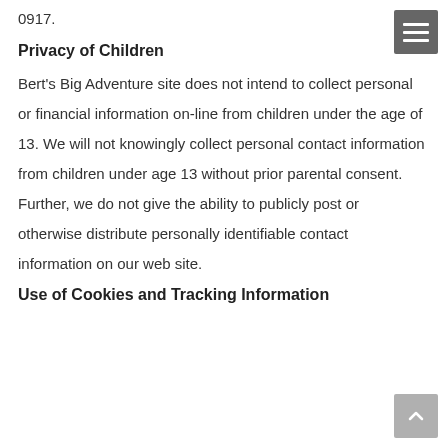0917.
Privacy of Children
Bert’s Big Adventure site does not intend to collect personal or financial information on-line from children under the age of 13. We will not knowingly collect personal contact information from children under age 13 without prior parental consent. Further, we do not give the ability to publicly post or otherwise distribute personally identifiable contact information on our web site.
Use of Cookies and Tracking Information